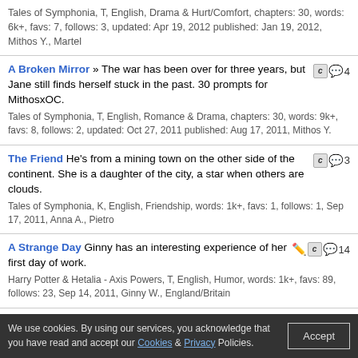Tales of Symphonia, T, English, Drama & Hurt/Comfort, chapters: 30, words: 6k+, favs: 7, follows: 3, updated: Apr 19, 2012 published: Jan 19, 2012, Mithos Y., Martel
A Broken Mirror » The war has been over for three years, but Jane still finds herself stuck in the past. 30 prompts for MithosxOC. Tales of Symphonia, T, English, Romance & Drama, chapters: 30, words: 9k+, favs: 8, follows: 2, updated: Oct 27, 2011 published: Aug 17, 2011, Mithos Y.
The Friend He's from a mining town on the other side of the continent. She is a daughter of the city, a star when others are clouds. Tales of Symphonia, K, English, Friendship, words: 1k+, favs: 1, follows: 1, Sep 17, 2011, Anna A., Pietro
A Strange Day Ginny has an interesting experience of her first day of work. Harry Potter & Hetalia - Axis Powers, T, English, Humor, words: 1k+, favs: 89, follows: 23, Sep 14, 2011, Ginny W., England/Britain
Night They come for her in the dead of the night. Tales of Symphonia, T, English, Tragedy & Horror, words: 773, favs: 1, Aug 17, 2011, Marble
At the Breakfast Table » For thirty days, Jane is the kitchen wench of the Temple of the Great Kharlan Tree. Mithos is determined to help her. 30 prompts for MithosxOC.
We use cookies. By using our services, you acknowledge that you have read and accept our Cookies & Privacy Policies.